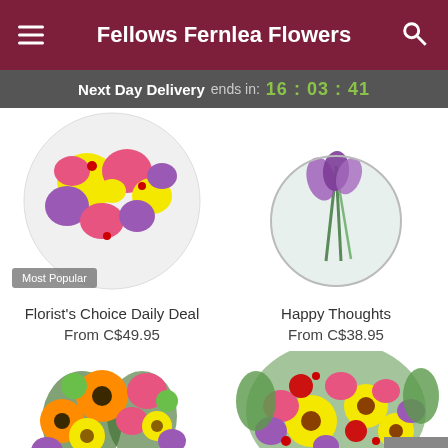Fellows Fernlea Flowers
Next Day Delivery ends in: 16 : 03 : 41
[Figure (photo): Circular arrangement of colorful flowers including yellow daisies, pink carnations, and purple asters with a 'Most Popular' badge]
Florist's Choice Daily Deal
From C$49.95
[Figure (photo): Glass globe vase with green stems and purple irises visible through the glass]
Happy Thoughts
From C$38.95
[Figure (photo): Bright bouquet with orange gerbera daisies, pink carnations, yellow daisies, and purple flowers in a glass vase with gold ribbon]
[Figure (photo): Vibrant bouquet with yellow sunflowers, pink carnations, red flowers, and purple asters in a vase]